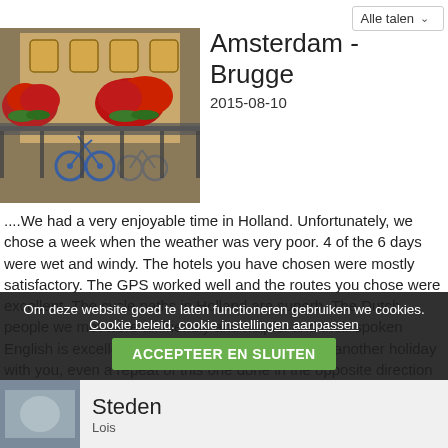[Figure (other): Dropdown UI element showing 'Alle talen' language selector]
[Figure (photo): Photo of bicycles and red flowers on a bridge railing in Holland]
Amsterdam - Brugge
2015-08-10
....We had a very enjoyable time in Holland. Unfortunately, we chose a week when the weather was very poor. 4 of the 6 days were wet and windy. The hotels you have chosen were mostly satisfactory. The GPS worked well and the routes you chose were excellent. The cycle paths in Holland are superb. The Dutch people we met were all friendly and helpful and their spoken English is excellent. We would definitely consider another holiday with you, even a repeat of this one done in the opposite direction and in nicer weather.
Om deze website goed te laten functioneren gebruiken we cookies. Cookie beleid. cookie instellingen aanpassen ACCEPTEER EN SLUITEN
Steden
Lois